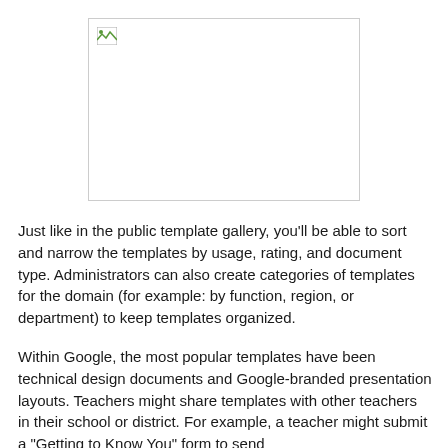[Figure (other): A broken/missing image placeholder shown as a white rectangle with a border and a small broken image icon in the top-left corner.]
Just like in the public template gallery, you'll be able to sort and narrow the templates by usage, rating, and document type. Administrators can also create categories of templates for the domain (for example: by function, region, or department) to keep templates organized.
Within Google, the most popular templates have been technical design documents and Google-branded presentation layouts. Teachers might share templates with other teachers in their school or district. For example, a teacher might submit a "Getting to Know You" form to send